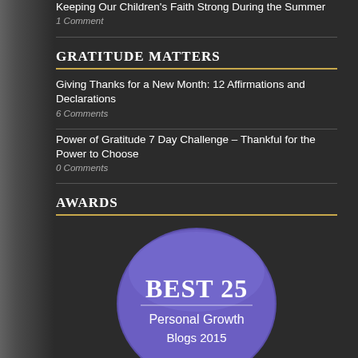Keeping Our Children's Faith Strong During the Summer
1 Comment
GRATITUDE MATTERS
Giving Thanks for a New Month: 12 Affirmations and Declarations
6 Comments
Power of Gratitude 7 Day Challenge – Thankful for the Power to Choose
0 Comments
AWARDS
[Figure (illustration): Badge reading BEST 25 Personal Growth Blogs 2015 in purple/blue circular design]